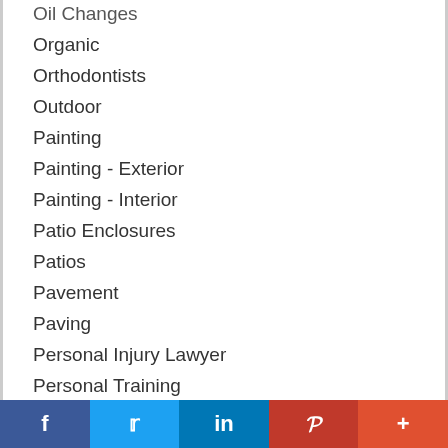Oil Changes
Organic
Orthodontists
Outdoor
Painting
Painting - Exterior
Painting - Interior
Patio Enclosures
Patios
Pavement
Paving
Personal Injury Lawyer
Personal Training
Pest Control